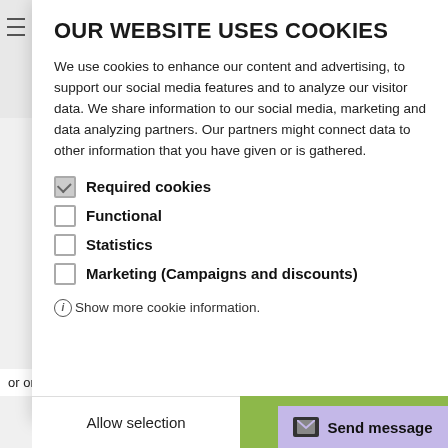OUR WEBSITE USES COOKIES
We use cookies to enhance our content and advertising, to support our social media features and to analyze our visitor data. We share information to our social media, marketing and data analyzing partners. Our partners might connect data to other information that you have given or is gathered.
Required cookies (checked)
Functional
Statistics
Marketing (Campaigns and discounts)
Show more cookie information.
Allow selection
Allow all
or on holidays will be handled the next work day.
Send message